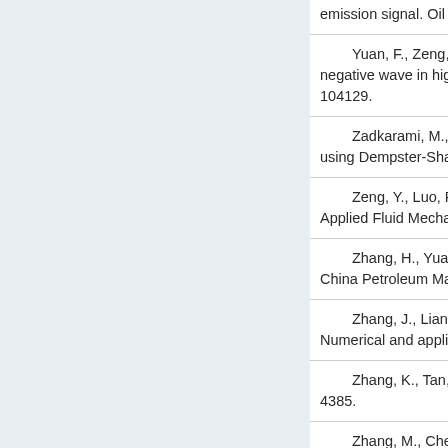emission signal. Oil & Gas Storage and Tran…
Yuan, F., Zeng, Y., Luo, R., et al. Numeri… negative wave in high-pressure gas pipeline… 104129.
Zadkarami, M., Shahbazian, M., Salahsh… using Dempster-Shafer classifier fusion techn…
Zeng, Y., Luo, R. Numerical analysis on… Applied Fluid Mechanics, 2019, 12(2): 485-4…
Zhang, H., Yuan, G., Li, G., et al. Numer… China Petroleum Machinery, 2020, 48(12): 1…
Zhang, J., Lian, Z., Zhou, Z., et al. Acous… Numerical and applications. International Jou…
Zhang, K., Tan, B., Zhang, W., et al. Des… 4385.
Zhang, M., Chen, X., Li, W. A hybrid hidd… 2021c, 11(7): 3138.
Zhang, T., Kou, J., Sun, S. Review on dy… Research, 2017, 1(2): 124-134.